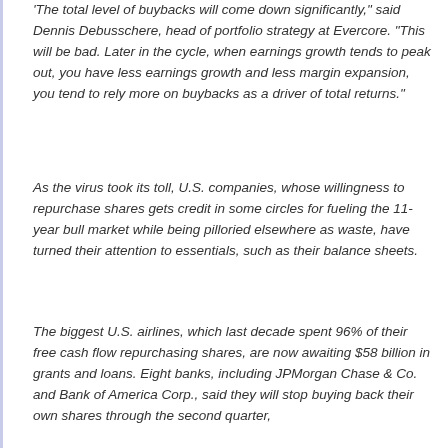'The total level of buybacks will come down significantly,' said Dennis Debusschere, head of portfolio strategy at Evercore. 'This will be bad. Later in the cycle, when earnings growth tends to peak out, you have less earnings growth and less margin expansion, you tend to rely more on buybacks as a driver of total returns.'
As the virus took its toll, U.S. companies, whose willingness to repurchase shares gets credit in some circles for fueling the 11-year bull market while being pilloried elsewhere as waste, have turned their attention to essentials, such as their balance sheets.
The biggest U.S. airlines, which last decade spent 96% of their free cash flow repurchasing shares, are now awaiting $58 billion in grants and loans. Eight banks, including JPMorgan Chase & Co. and Bank of America Corp., said they will stop buying back their own shares through the second quarter,